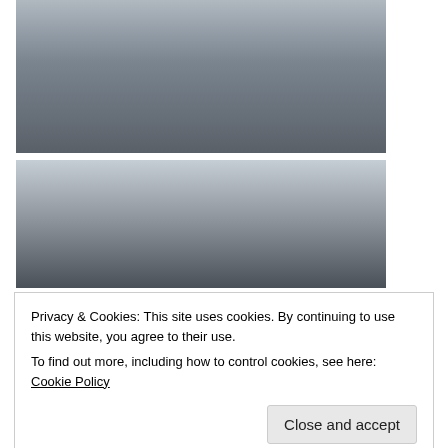[Figure (photo): News photograph showing people standing on top of a damaged police car on a city street during civil unrest. Buildings visible in the background.]
[Figure (photo): News photograph showing a raised fist in the foreground with riot police lined up in a smoky city street in the background.]
Privacy & Cookies: This site uses cookies. By continuing to use this website, you agree to their use.
To find out more, including how to control cookies, see here: Cookie Policy
[Figure (photo): Partial news photograph visible at the bottom of the page showing people in an outdoor scene.]